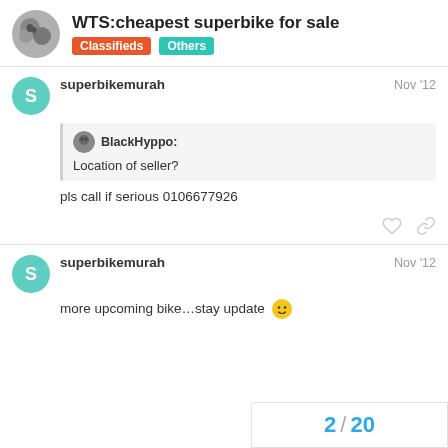WTS:cheapest superbike for sale | Classifieds | Others
superbikemurah Nov '12
BlackHyppo:
Location of seller?
pls call if serious 0106677926
superbikemurah Nov '12
more upcoming bike…stay update 🙂
2 / 20